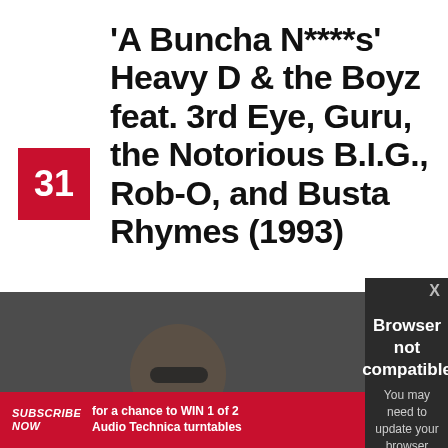'A Buncha N****s' Heavy D & the Boyz feat. 3rd Eye, Guru, the Notorious B.I.G., Rob-O, and Busta Rhymes (1993)
31
[Figure (photo): Black and white photo of a large man in a black outfit with a chain necklace, likely Heavy D]
Browser not compatible
You may need to update your browser
Report ID: 1gc5kbqta7nvudn1rdv
SUBSCRIBE NOW for a chance to WIN 1 of 2 Audio Technica turntables VALUED AT $329